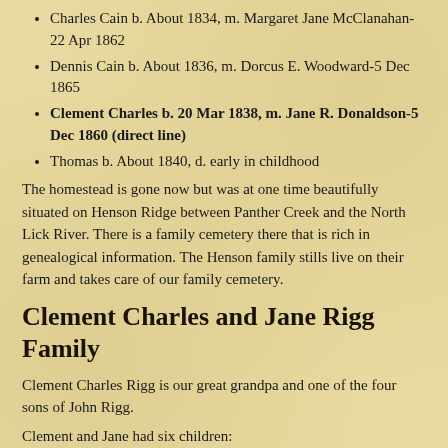Charles Cain b. About 1834, m. Margaret Jane McClanahan-22 Apr 1862
Dennis Cain b. About 1836, m. Dorcus E. Woodward-5 Dec 1865
Clement Charles b. 20 Mar 1838, m. Jane R. Donaldson-5 Dec 1860 (direct line)
Thomas b. About 1840, d. early in childhood
The homestead is gone now but was at one time beautifully situated on Henson Ridge between Panther Creek and the North Lick River. There is a family cemetery there that is rich in genealogical information. The Henson family stills live on their farm and takes care of our family cemetery.
Clement Charles and Jane Rigg Family
Clement Charles Rigg is our great grandpa and one of the four sons of John Rigg.
Clement and Jane had six children:
Sarah Elisa b. 16 Apr 1861, d. 10 May 1862
James William b. 12 Apr 1863, m. Hannah